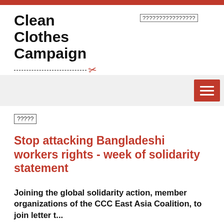[Figure (logo): Clean Clothes Campaign East Asia logo with scissors icon and dashed divider line]
????????????????
?????
Stop attacking Bangladeshi workers rights - week of solidarity statement
Joining the global solidarity action, member organizations of the CCC East Asia Coalition, to join letter t...